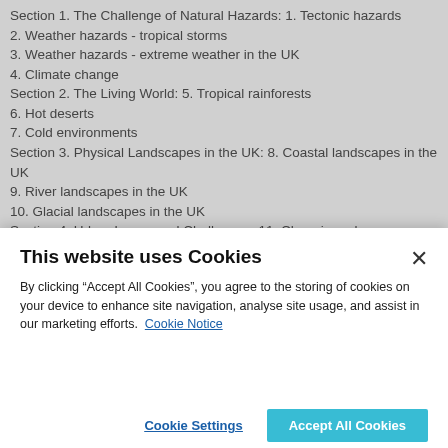Section 1. The Challenge of Natural Hazards: 1. Tectonic hazards
2. Weather hazards - tropical storms
3. Weather hazards - extreme weather in the UK
4. Climate change
Section 2. The Living World: 5. Tropical rainforests
6. Hot deserts
7. Cold environments
Section 3. Physical Landscapes in the UK: 8. Coastal landscapes in the UK
9. River landscapes in the UK
10. Glacial landscapes in the UK
Section 4. Urban Issues and Challenges: 11. Changing urban areas
Section 5. The changing economic world: 12. The development gap
13. Economic futures in the UK
This website uses Cookies
By clicking “Accept All Cookies”, you agree to the storing of cookies on your device to enhance site navigation, analyse site usage, and assist in our marketing efforts. Cookie Notice
Cookie Settings
Accept All Cookies